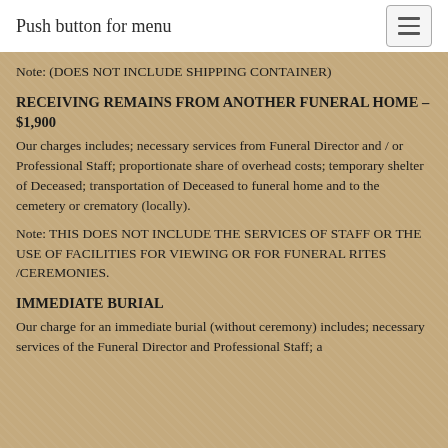Push button for menu
Note: (DOES NOT INCLUDE SHIPPING CONTAINER)
RECEIVING REMAINS FROM ANOTHER FUNERAL HOME – $1,900
Our charges includes; necessary services from Funeral Director and / or Professional Staff; proportionate share of overhead costs; temporary shelter of Deceased; transportation of Deceased to funeral home and to the cemetery or crematory (locally).
Note: THIS DOES NOT INCLUDE THE SERVICES OF STAFF OR THE USE OF FACILITIES FOR VIEWING OR FOR FUNERAL RITES /CEREMONIES.
IMMEDIATE BURIAL
Our charge for an immediate burial (without ceremony) includes; necessary services of the Funeral Director and Professional Staff; a